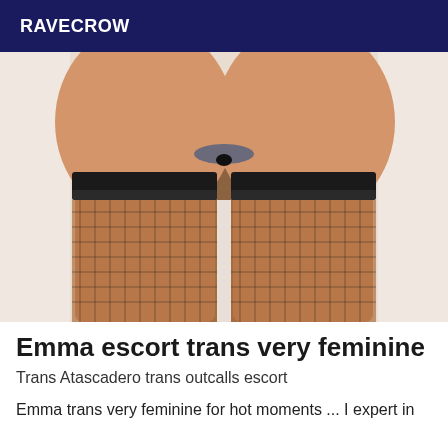RAVECROW
[Figure (photo): Close-up photo of legs wearing black lace-top fishnet stockings with decorative ruffle trim, seated on what appears to a wooden stool or chair, white wall background visible]
Emma escort trans very feminine
Trans Atascadero trans outcalls escort
Emma trans very feminine for hot moments ... I expert in